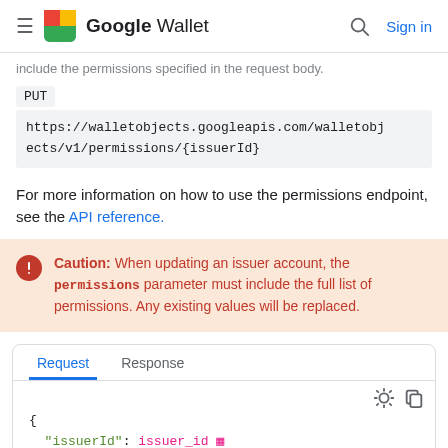Google Wallet
include the permissions specified in the request body.
PUT
https://walletobjects.googleapis.com/walletobjects/v1/permissions/{issuerId}
For more information on how to use the permissions endpoint, see the API reference.
Caution: When updating an issuer account, the permissions parameter must include the full list of permissions. Any existing values will be replaced.
| Request | Response |
| --- | --- |
| { "issuerId": issuer_id |  |